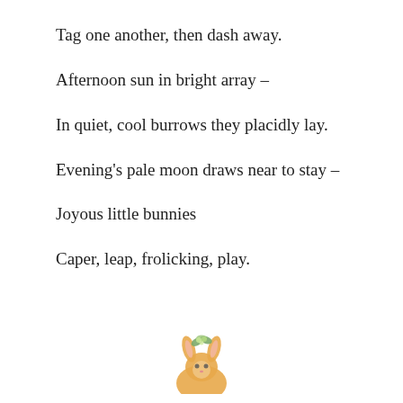Tag one another, then dash away.
Afternoon sun in bright array –
In quiet, cool burrows they placidly lay.
Evening's pale moon draws near to stay –
Joyous little bunnies
Caper, leap, frolicking, play.
[Figure (illustration): Small decorative illustration of a bunny or floral ornament at the bottom center of the page]